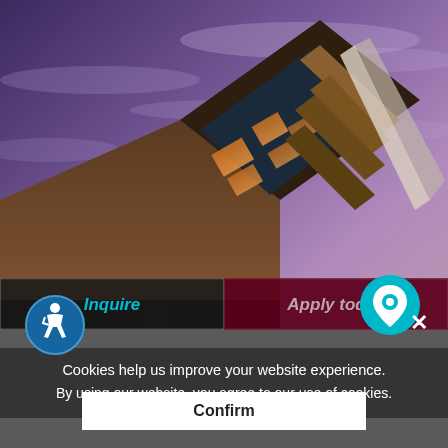[Figure (photo): Upward-angled architectural photo of a modern university building with wooden paneling, large glass windows illuminated from inside, shot against a dramatic purple-blue dusk sky with scattered clouds.]
Cookies help us improve your website experience.
By using our website, you agree to our use of cookies.
Confirm